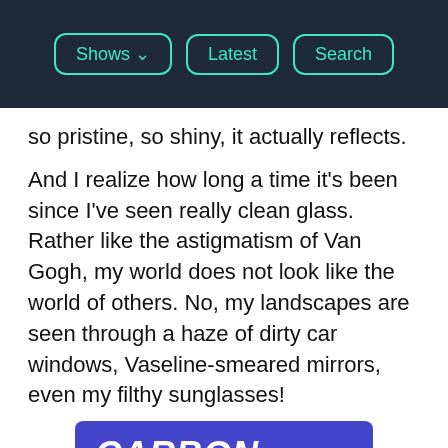Shows | Latest | Search
so pristine, so shiny, it actually reflects.
And I realize how long a time it's been since I've seen really clean glass. Rather like the astigmatism of Van Gogh, my world does not look like the world of others. No, my landscapes are seen through a haze of dirty car windows, Vaseline-smeared mirrors, even my filthy sunglasses!
[Figure (illustration): Carbon Sound FM advertisement banner. Purple/blue background with bold italic white text reading 'CARBON SOUND FM', subtitle 'MUSIC FOR LIFE', pink 'STREAM NOW' button, and colorful music equalizer bars on the right side in pink and purple.]